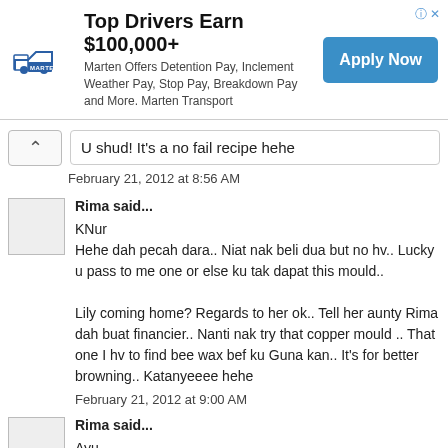[Figure (other): Advertisement banner for Marten Transport. Title: 'Top Drivers Earn $100,000+'. Body: 'Marten Offers Detention Pay, Inclement Weather Pay, Stop Pay, Breakdown Pay and More. Marten Transport'. Button: 'Apply Now'.]
U shud! It's a no fail recipe hehe
February 21, 2012 at 8:56 AM
Rima said...
KNur
Hehe dah pecah dara.. Niat nak beli dua but no hv.. Lucky u pass to me one or else ku tak dapat this mould..

Lily coming home? Regards to her ok.. Tell her aunty Rima dah buat financier.. Nanti nak try that copper mould .. That one I hv to find bee wax bef ku Guna kan.. It's for better browning.. Katanyeeee hehe
February 21, 2012 at 9:00 AM
Rima said...
Ayu